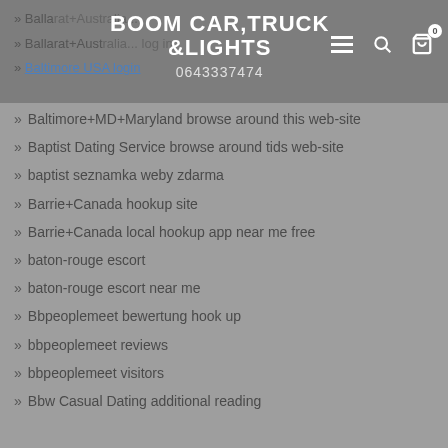BOOM CAR, TRUCK & LIGHTS
0643337474
Ballarat+Australia+login
Baltimore USA login
Baltimore+MD+Maryland browse around this web-site
Baptist Dating Service browse around tids web-site
baptist seznamka weby zdarma
Barrie+Canada hookup site
Barrie+Canada local hookup app near me free
baton-rouge escort
baton-rouge escort near me
Bbpeoplemeet bewertung hook up
bbpeoplemeet reviews
bbpeoplemeet visitors
Bbw Casual Dating additional reading